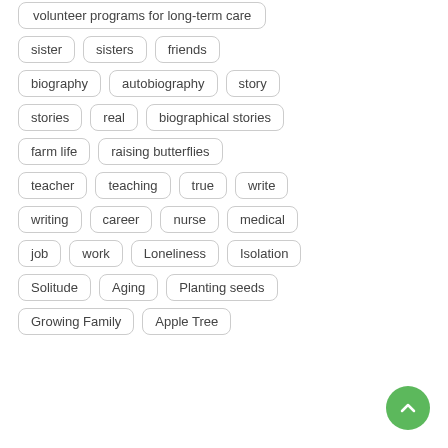volunteer programs for long-term care
sister
sisters
friends
biography
autobiography
story
stories
real
biographical stories
farm life
raising butterflies
teacher
teaching
true
write
writing
career
nurse
medical
job
work
Loneliness
Isolation
Solitude
Aging
Planting seeds
Growing Family
Apple Tree